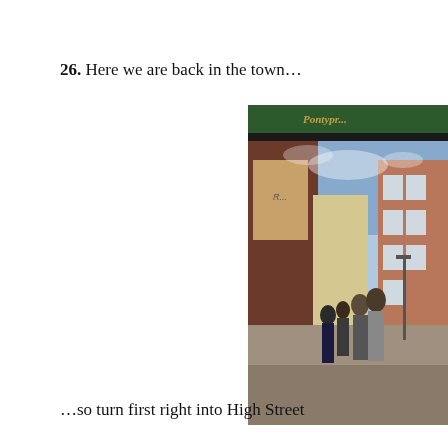26. Here we are back in the town…
[Figure (photo): Street-level photograph of a town high street (Pontypool/Pontypool-area) showing pedestrians walking along the pavement, brick buildings on either side, and a green hanging sign reading 'Pontypr...' visible at the top of the image.]
…so turn first right into High Street